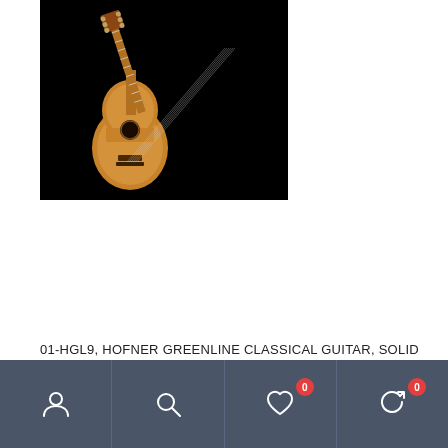[Figure (photo): Classical guitar with spruce top and cherry back and sides on black background]
01-HGL9, HOFNER GREENLINE CLASSICAL GUITAR, SOLID SPRUCE TOP, CHERRY BACK & SIDES, DELUXE MODEL
Navigation bar with user, search, wishlist (0), and cart (0) icons